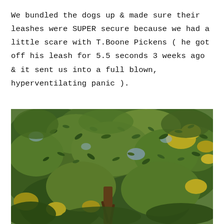We bundled the dogs up & made sure their leashes were SUPER secure because we had a little scare with T.Boone Pickens ( he got off his leash for 5.5 seconds 3 weeks ago & it sent us into a full blown, hyperventilating panic ).
[Figure (photo): Overhead photograph of dense green tree canopy with small leaves and yellow accents, with a wooden post visible below.]